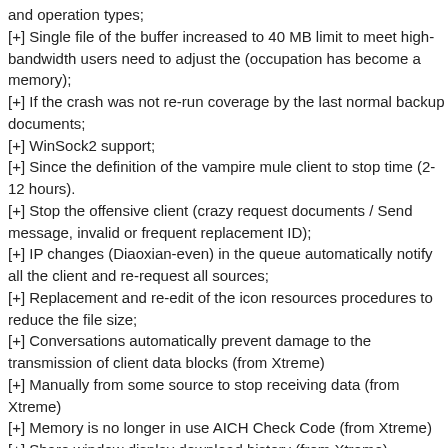and operation types;
[+] Single file of the buffer increased to 40 MB limit to meet high-bandwidth users need to adjust the (occupation has become a memory);
[+] If the crash was not re-run coverage by the last normal backup documents;
[+] WinSock2 support;
[+] Since the definition of the vampire mule client to stop time (2-12 hours).
[+] Stop the offensive client (crazy request documents / Send message, invalid or frequent replacement ID);
[+] IP changes (Diaoxian-even) in the queue automatically notify all the client and re-request all sources;
[+] Replacement and re-edit of the icon resources procedures to reduce the file size;
[+] Conversations automatically prevent damage to the transmission of client data blocks (from Xtreme)
[+] Manually from some source to stop receiving data (from Xtreme)
[+] Memory is no longer in use AICH Check Code (from Xtreme)
[+] Share window display download history (from Xtreme)
[+] Connected to the server, check and display the download...